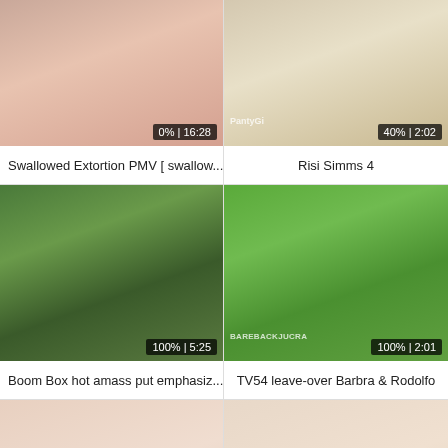[Figure (screenshot): Video thumbnail grid cell 1 - adult video thumbnail with badge '0% | 16:28']
Swallowed Extortion PMV [ swallow...
[Figure (screenshot): Video thumbnail grid cell 2 - adult video thumbnail with watermark 'PantyGi' and badge '40% | 2:02']
Risi Simms 4
[Figure (screenshot): Video thumbnail grid cell 3 - adult video thumbnail with badge '100% | 5:25']
Boom Box hot amass put emphasiz...
[Figure (screenshot): Video thumbnail grid cell 4 - adult video thumbnail with watermark 'BAREBACKJUCRA' and badge '100% | 2:01']
TV54 leave-over Barbra & Rodolfo
[Figure (screenshot): Video thumbnail grid cell 5 - adult video thumbnail with badge '100% | 5:00']
[Figure (screenshot): Video thumbnail grid cell 6 - adult video thumbnail with badge '100% | 2:00']